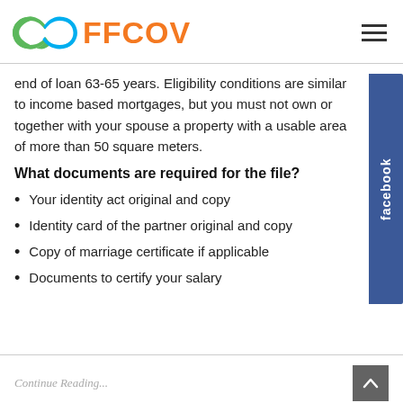[Figure (logo): FFCOV logo with green and blue infinity-style symbol and orange FFCOV text]
end of loan 63-65 years. Eligibility conditions are similar to income based mortgages, but you must not own or together with your spouse a property with a usable area of more than 50 square meters.
What documents are required for the file?
Your identity act original and copy
Identity card of the partner original and copy
Copy of marriage certificate if applicable
Documents to certify your salary
Continue Reading...